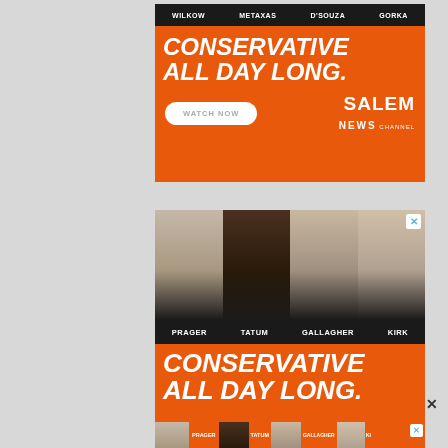[Figure (infographic): Salem News Channel advertisement banner. Top black bar lists hosts: WILKOW, METAXAS, D'SOUZA, GORKA. Orange background with large white bold italic text 'CONSERVATIVE ALL DAY LONG.' White pill button 'WATCH NOW'. Salem News Channel logo on right.]
[Figure (infographic): Salem News Channel advertisement. Photos of four conservative commentators. Black bar with names PRAGER, TATUM, GALLAGHER, KIRK. Orange background with large white bold italic text 'CONSERVATIVE ALL DAY LONG.' X close button in top right.]
[Figure (infographic): Salem News Channel bottom strip advertisement showing small photos and names: PRAGER, TATUM, GALLAGHER, KIRK. X close button.]